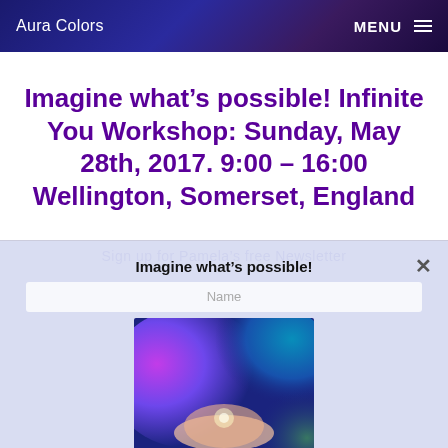Aura Colors   MENU
Imagine what’s possible! Infinite You Workshop: Sunday, May 28th, 2017. 9:00 – 16:00 Wellington, Somerset, England
[Figure (screenshot): Modal popup overlay showing 'Imagine what’s possible!' with Name field, a colorful aura/hands photo, Email field, and a Subscribe button. Background shows ghost text 'Sign up for Pamela’s free Newsletter'.]
Sign up for Pamela’s free Newsletter